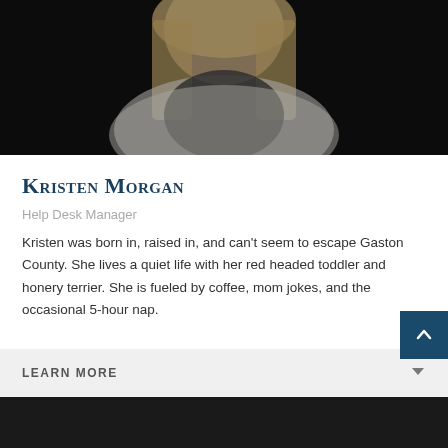[Figure (photo): Professional headshot of Kristen Morgan, a woman with long blonde hair wearing a white dotted blouse over a dark top, photographed against a dark background]
Kristen Morgan
Help Desk Manager
Kristen was born in, raised in, and can't seem to escape Gaston County. She lives a quiet life with her red headed toddler and honery terrier. She is fueled by coffee, mom jokes, and the occasional 5-hour nap.
LEARN MORE
[Figure (photo): Bottom portion of another profile photo, showing a dark background]